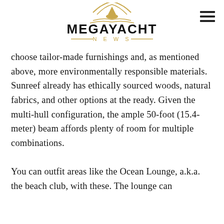MEGAYACHT NEWS
choose tailor-made furnishings and, as mentioned above, more environmentally responsible materials. Sunreef already has ethically sourced woods, natural fabrics, and other options at the ready. Given the multi-hull configuration, the ample 50-foot (15.4-meter) beam affords plenty of room for multiple combinations.

You can outfit areas like the Ocean Lounge, a.k.a. the beach club, with these. The lounge can